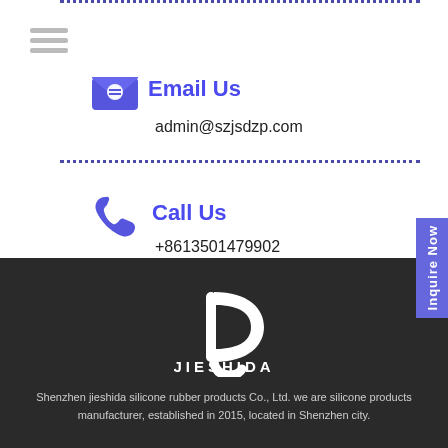[Figure (illustration): Hamburger menu icon (three horizontal lines)]
Email Us
admin@szjsdzp.com
Call Us
+8613501479902
[Figure (logo): Jieshida logo with stylized D letter mark and text JIESHIDA]
Shenzhen jieshida silicone rubber products Co., Ltd. we are silicone products manufacturer, established in 2015, located in Shenzhen city.